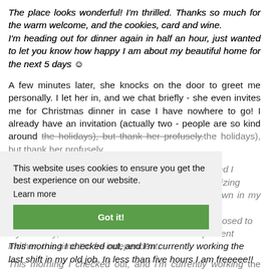The place looks wonderful! I'm thrilled. Thanks so much for the warm welcome, and the cookies, card and wine.
I'm heading out for dinner again in half an hour, just wanted to let you know how happy I am about my beautiful home for the next 5 days 😊
A few minutes later, she knocks on the door to greet me personally. I let her in, and we chat briefly - she even invites me for Christmas dinner in case I have nowhere to go! I already have an invitation (actually two - people are so kind around the holidays), but thank her profusely.
I already walked around the neighborhood, and I adorelove to come home tomorrow next after work and socializing with friends. I feel like a single girl, living on my own in my cute little place, and the novelty of it makes it fun. As opposed to my last stay, where I felt like a child with a omnipresent mother, this time I'm freelyindependent.
This website uses cookies to ensure you get the best experience on our website.
Learn more
Got it!
This morning I checked out, and I'm currently working the last shift in my old job. In less than five hours I am freeeee!!